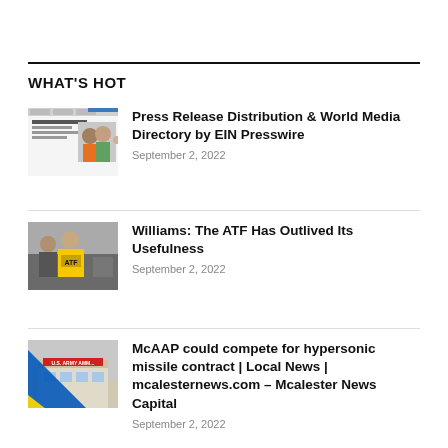WHAT'S HOT
[Figure (screenshot): Thumbnail screenshot of EIN Presswire website showing text 'Millions of People With One Click']
Press Release Distribution & World Media Directory by EIN Presswire
September 2, 2022
[Figure (photo): Photo of ATF agent wearing yellow ATF vest]
Williams: The ATF Has Outlived Its Usefulness
September 2, 2022
[Figure (photo): Photo of U.S. Army Ammunition Plant building with Ukraine flag diagonal overlay]
McAAP could compete for hypersonic missile contract | Local News | mcalesternews.com – Mcalester News Capital
September 2, 2022